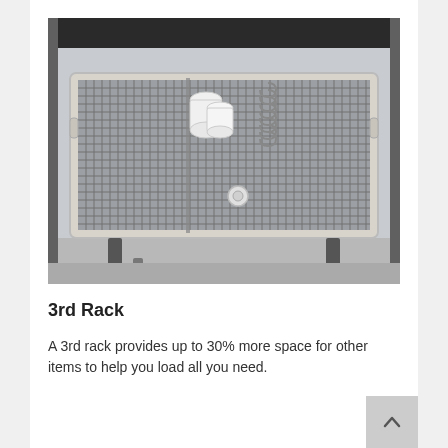[Figure (photo): Top-down view of an open dishwasher's third rack showing a wire grid rack with white cups, utensils, and other small items loaded in it, pulled out from the dishwasher.]
3rd Rack
A 3rd rack provides up to 30% more space for other items to help you load all you need.